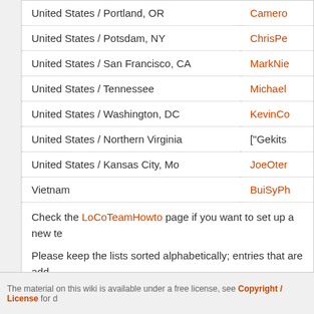| Location | Link |
| --- | --- |
| United States / Portland, OR | Camero... |
| United States / Potsdam, NY | ChrisPe... |
| United States / San Francisco, CA | MarkNie... |
| United States / Tennessee | Michael... |
| United States / Washington, DC | KevinCo... |
| United States / Northern Virginia | ["Gekits... |
| United States / Kansas City, Mo | JoeOter... |
| Vietnam | BuiSyPh... |
Check the LoCoTeamHowto page if you want to set up a new te...
Please keep the lists sorted alphabetically; entries that are add...
CategoryLoCoTeams CategoryForum
The material on this wiki is available under a free license, see Copyright / License for d...